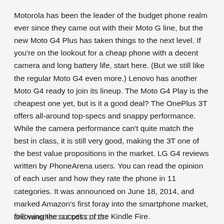Motorola has been the leader of the budget phone realm ever since they came out with their Moto G line, but the new Moto G4 Plus has taken things to the next level. If you're on the lookout for a cheap phone with a decent camera and long battery life, start here. (But we still like the regular Moto G4 even more.) Lenovo has another Moto G4 ready to join its lineup. The Moto G4 Play is the cheapest one yet, but is it a good deal? The OnePlus 3T offers all-around top-specs and snappy performance. While the camera performance can't quite match the best in class, it is still very good, making the 3T one of the best value propositions in the market. LG G4 reviews written by PhoneArena users. You can read the opinion of each user and how they rate the phone in 11 categories. It was announced on June 18, 2014, and marked Amazon's first foray into the smartphone market, following the success of the Kindle Fire.
dnd.vanother□□□□pdf□□□□□□